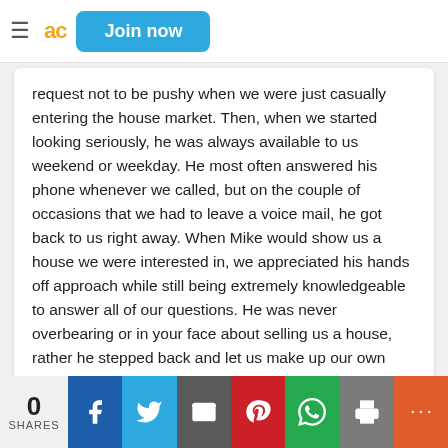Join now
request not to be pushy when we were just casually entering the house market. Then, when we started looking seriously, he was always available to us weekend or weekday. He most often answered his phone whenever we called, but on the couple of occasions that we had to leave a voice mail, he got back to us right away. When Mike would show us a house we were interested in, we appreciated his hands off approach while still being extremely knowledgeable to answer all of our questions. He was never overbearing or in your face about selling us a house, rather he stepped back and let us make up our own minds while always being there to guide us when we needed it. We would highly recommend Mike Cooper as an excellent agent to work with!
[Figure (infographic): Social share bar with 0 shares count, and icons for Facebook, Twitter, Email, Pinterest, WhatsApp, Print, and More (+)]